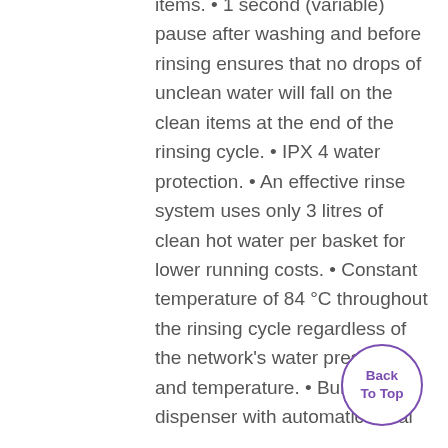items. • 1 second (variable) pause after washing and before rinsing ensures that no drops of unclean water will fall on the clean items at the end of the rinsing cycle. • IPX 4 water protection. • An effective rinse system uses only 3 litres of clean hot water per basket for lower running costs. • Constant temperature of 84 °C throughout the rinsing cycle regardless of the network's water pressure and temperature. • Built-in rinse dispenser with automatic initial